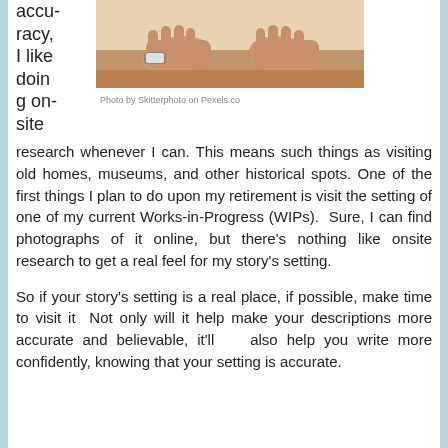accuracy, I like doing on-site
[Figure (photo): Close-up photo of hands on a surface, person wearing a watch, hands pressed flat on a light-colored surface.]
Photo by Skitterphoto on Pexels.co
research whenever I can. This means such things as visiting old homes, museums, and other historical spots. One of the first things I plan to do upon my retirement is visit the setting of one of my current Works-in-Progress (WIPs). Sure, I can find photographs of it online, but there's nothing like onsite research to get a real feel for my story's setting.
So if your story's setting is a real place, if possible, make time to visit it  Not only will it help make your descriptions more accurate and believable, it'll   also help you write more confidently, knowing that your setting is accurate.